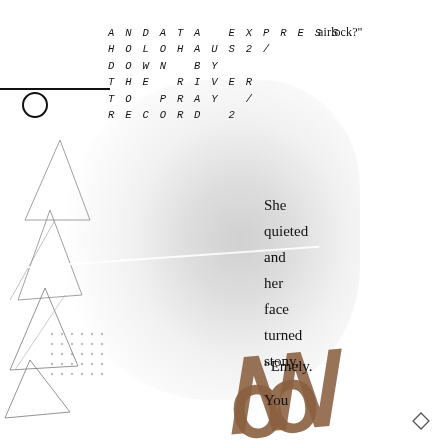ANDATA EXPRESS airlock?" HOLOHAUS2 / DOWN BY THE RIVER TO PRAY / RECORD 2
She quieted and her face turned stony.
“Emely.
You
[Figure (illustration): Geometric line art on the left side of the page — triangular and angular line drawings stacked vertically, with a dot grid pattern at the bottom left. A large gray amorphous blob shape fills the center-left as a background element. A white diagonal line crosses the mid-section. Decorative calligraphic/bold brown letterforms appear at the bottom center, partially cropped.]